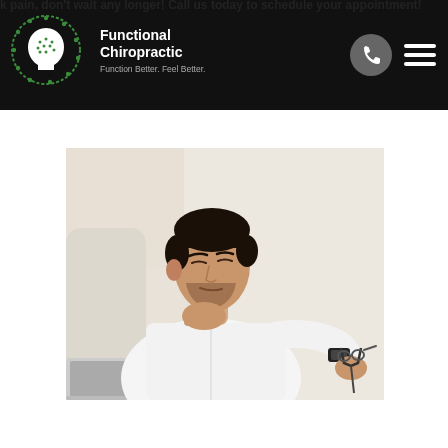k pain, don't wait any longer! Call us today to schedule your appointment!
[Figure (logo): Functional Chiropractic logo with head/brain icon and tagline 'Function Better. Feel Better.']
[Figure (photo): Man in white shirt sitting on couch, holding glasses with one hand and touching his neck with the other, eyes closed, appearing to be in neck/jaw pain, with a laptop visible in the foreground]